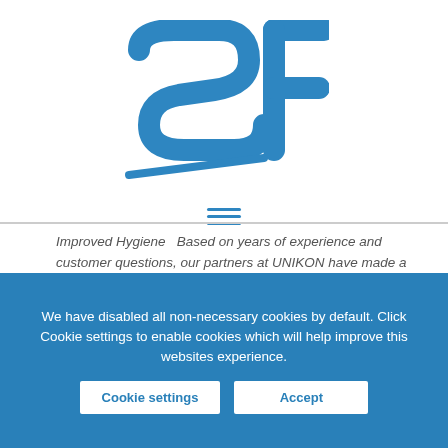[Figure (logo): SF logo in blue — stylized letters S and F]
[Figure (other): Hamburger menu icon with three horizontal blue lines]
Improved Hygiene   Based on years of experience and customer questions, our partners at UNIKON have made a number of technical improvements to the UN series of industrial washers with a goal of making the machines even more...
We have disabled all non-necessary cookies by default. Click Cookie settings to enable cookies which will help improve this websites experience.